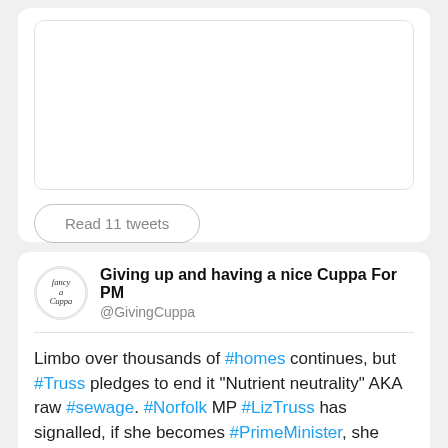[Figure (screenshot): Top Twitter card with empty image placeholder and 'Read 11 tweets' button]
[Figure (screenshot): Twitter tweet card from @GivingCuppa: 'Giving up and having a nice Cuppa For PM' with tweet text about nutrient neutrality and housing]
Giving up and having a nice Cuppa For PM @GivingCuppa Limbo over thousands of #homes continues, but #Truss pledges to end it "Nutrient neutrality" AKA raw #sewage. #Norfolk MP #LizTruss has signalled, if she becomes #PrimeMinister, she would #scrap nutrient neutrality requirement blocking housing building. edp24.co.uk/news/housing/n…